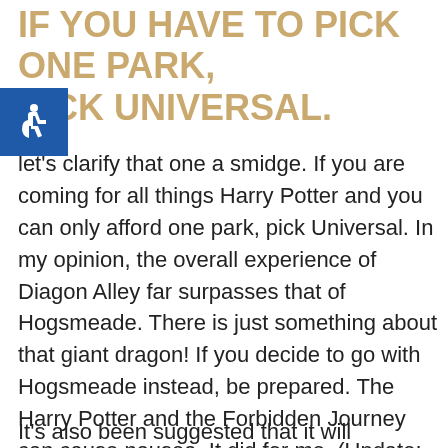IF YOU HAVE TO PICK ONE PARK, PICK UNIVERSAL.
[Figure (logo): Blue accessibility icon (wheelchair user symbol) on blue square background]
let's clarify that one a smidge. If you are coming for all things Harry Potter and you can only afford one park, pick Universal. In my opinion, the overall experience of Diagon Alley far surpasses that of Hogsmeade. There is just something about that giant dragon! If you decide to go with Hogsmeade instead, be prepared. The Harry Potter and the Forbidden Journey can cause nausea. It did for me. (Update: Non-drowsy dramamine makes all the difference. This ride is INCREDIBLE!)
It's also been suggested that it will